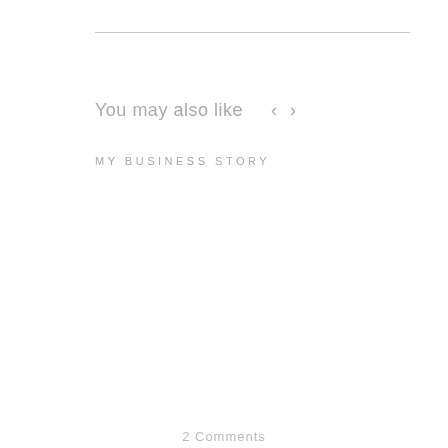You may also like
MY BUSINESS STORY
2 Comments